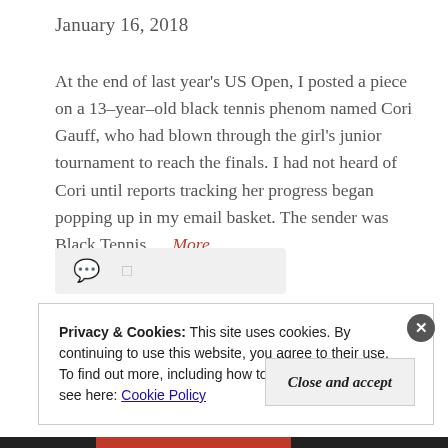January 16, 2018
At the end of last year's US Open, I posted a piece on a 13-year-old black tennis phenom named Cori Gauff, who had blown through the girl's junior tournament to reach the finals. I had not heard of Cori until reports tracking her progress began popping up in my email basket. The sender was Black Tennis … More
Privacy & Cookies: This site uses cookies. By continuing to use this website, you agree to their use.
To find out more, including how to control cookies, see here: Cookie Policy
Close and accept